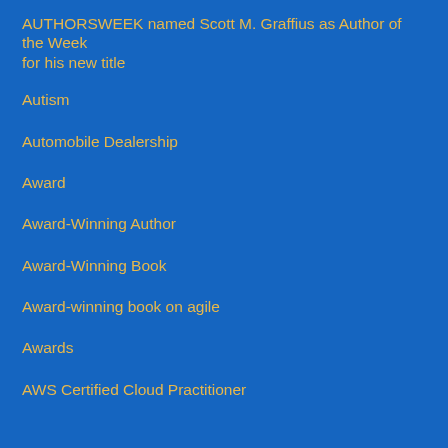AUTHORSWEEK named Scott M. Graffius as Author of the Week for his new title
Autism
Automobile Dealership
Award
Award-Winning Author
Award-Winning Book
Award-winning book on agile
Awards
AWS Certified Cloud Practitioner